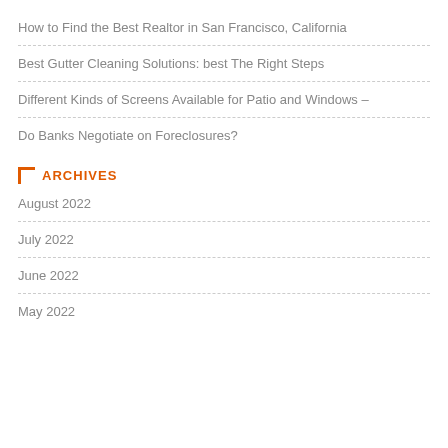How to Find the Best Realtor in San Francisco, California
Best Gutter Cleaning Solutions: best The Right Steps
Different Kinds of Screens Available for Patio and Windows –
Do Banks Negotiate on Foreclosures?
ARCHIVES
August 2022
July 2022
June 2022
May 2022